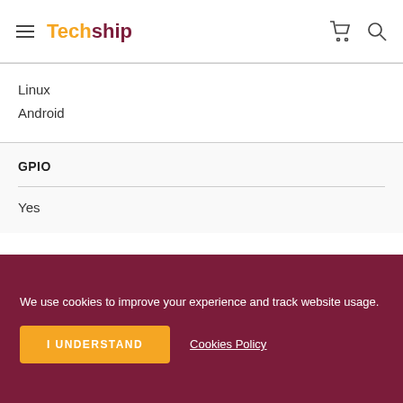Techship
Linux
Android
GPIO
Yes
We use cookies to improve your experience and track website usage.
I UNDERSTAND
Cookies Policy